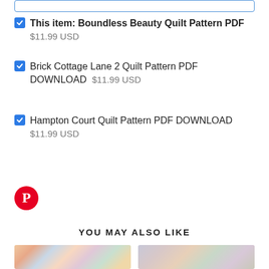This item: Boundless Beauty Quilt Pattern PDF  $11.99 USD
Brick Cottage Lane 2 Quilt Pattern PDF DOWNLOAD  $11.99 USD
Hampton Court Quilt Pattern PDF DOWNLOAD  $11.99 USD
[Figure (logo): Pinterest circular logo icon, red background with white P]
YOU MAY ALSO LIKE
[Figure (photo): Two thumbnail images of quilt patterns at the bottom of the page]